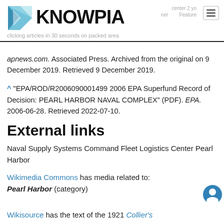[Figure (logo): Knowpia logo with blue geometric K icon and bold KNOWPIA wordmark]
apnews.com Associated Press. Archived from the original on 9 December 2019. Retrieved 9 December 2019.
^ "EPA/ROD/R2006090001499 2006 EPA Superfund Record of Decision: PEARL HARBOR NAVAL COMPLEX" (PDF). EPA. 2006-06-28. Retrieved 2022-07-10.
External links
Naval Supply Systems Command Fleet Logistics Center Pearl Harbor
Wikimedia Commons has media related to: Pearl Harbor (category)
Wikisource has the text of the 1921 Collier's